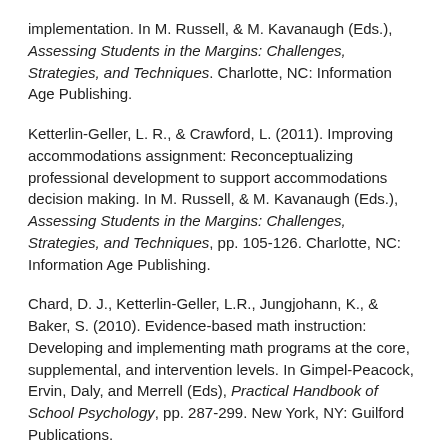implementation. In M. Russell, & M. Kavanaugh (Eds.), Assessing Students in the Margins: Challenges, Strategies, and Techniques. Charlotte, NC: Information Age Publishing.
Ketterlin-Geller, L. R., & Crawford, L. (2011). Improving accommodations assignment: Reconceptualizing professional development to support accommodations decision making. In M. Russell, & M. Kavanaugh (Eds.), Assessing Students in the Margins: Challenges, Strategies, and Techniques, pp. 105-126. Charlotte, NC: Information Age Publishing.
Chard, D. J., Ketterlin-Geller, L.R., Jungjohann, K., & Baker, S. (2010). Evidence-based math instruction: Developing and implementing math programs at the core, supplemental, and intervention levels. In Gimpel-Peacock, Ervin, Daly, and Merrell (Eds), Practical Handbook of School Psychology, pp. 287-299. New York, NY: Guilford Publications.